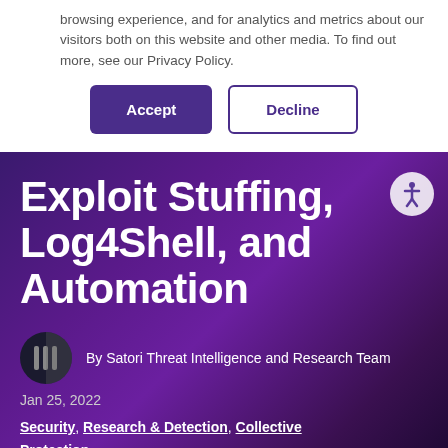browsing experience, and for analytics and metrics about our visitors both on this website and other media. To find out more, see our Privacy Policy.
[Figure (other): Accept and Decline cookie consent buttons]
Exploit Stuffing, Log4Shell, and Automation
[Figure (logo): Satori author icon - circular dark icon with vertical bars]
By Satori Threat Intelligence and Research Team
Jan 25, 2022
Security, Research & Detection, Collective Protection